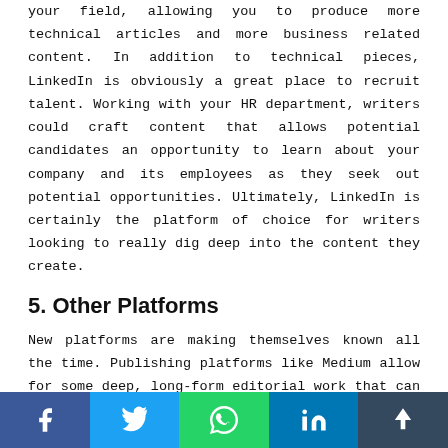your field, allowing you to produce more technical articles and more business related content. In addition to technical pieces, LinkedIn is obviously a great place to recruit talent. Working with your HR department, writers could craft content that allows potential candidates an opportunity to learn about your company and its employees as they seek out potential opportunities. Ultimately, LinkedIn is certainly the platform of choice for writers looking to really dig deep into the content they create.
5. Other Platforms
New platforms are making themselves known all the time. Publishing platforms like Medium allow for some deep, long-form editorial work that can help you dive deep into specific
social share bar: Facebook, Twitter, WhatsApp, LinkedIn, Share